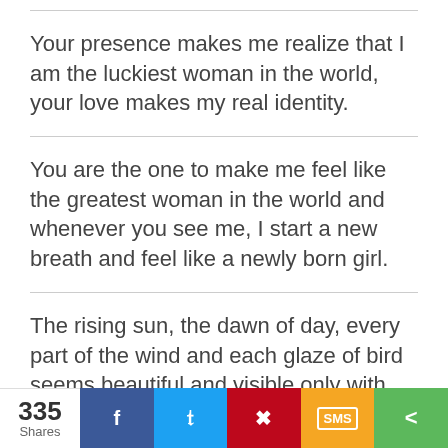Your presence makes me realize that I am the luckiest woman in the world, your love makes my real identity.
You are the one to make me feel like the greatest woman in the world and whenever you see me, I start a new breath and feel like a newly born girl.
The rising sun, the dawn of day, every part of the wind and each glaze of bird seems beautiful and visible only with you.
If someone can best relate me then definitely he is going to relate me with you. You are the most beautiful destination I ever wanted for
335 Shares | Facebook | Twitter | Pinterest | SMS | Share